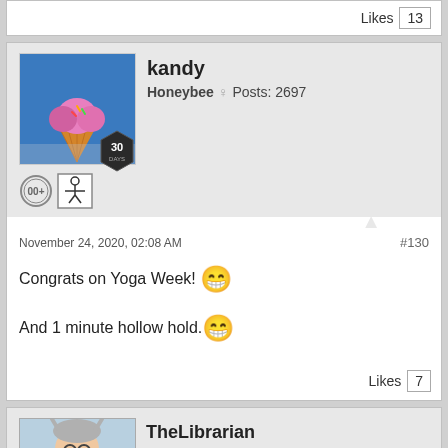Likes  13
kandy
Honeybee ♀ Posts: 2697
November 24, 2020, 02:08 AM
#130
Congrats on Yoga Week! 😁
And 1 minute hollow hold. 😁
Likes  7
TheLibrarian
Knight ♂ from Germany
Posts: 8323